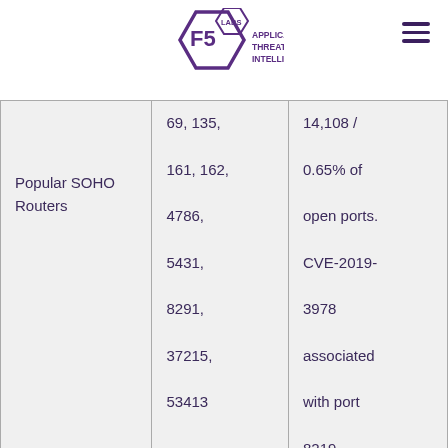[Figure (logo): F5 Labs Application Threat Intelligence hexagon logo with text]
| Popular SOHO Routers | 69, 135, 161, 162, 4786, 5431, 8291, 37215, 53413 | 14,108 / 0.65% of open ports. CVE-2019-3978 associated with port 8219 |
|  | 21, 554, 888, 1159, |  |